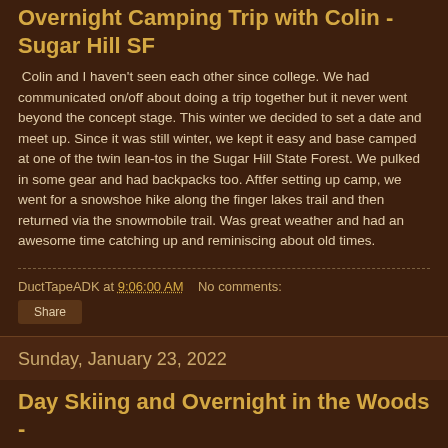Overnight Camping Trip with Colin -Sugar Hill SF
Colin and I haven't seen each other since college. We had communicated on/off about doing a trip together but it never went beyond the concept stage. This winter we decided to set a date and meet up. Since it was still winter, we kept it easy and base camped at one of the twin lean-tos in the Sugar Hill State Forest. We pulked in some gear and had backpacks too. Aftfer setting up camp, we went for a snowshoe hike along the finger lakes trail and then returned via the snowmobile trail. Was great weather and had an awesome time catching up and reminiscing about old times.
DuctTapeADK at 9:06:00 AM   No comments:
Share
Sunday, January 23, 2022
Day Skiing and Overnight in the Woods -